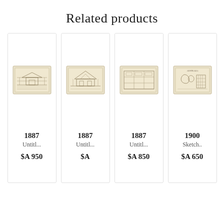Related products
[Figure (illustration): Antique architectural drawing, 1887, landscape orientation, cream/beige toned paper with faint sketched building elevation]
1887
Untitl...
$A 950
[Figure (illustration): Antique architectural drawing, 1887, landscape orientation, cream/beige toned paper with faint sketched building facade]
1887
Untitl...
$A
[Figure (illustration): Antique architectural drawing, 1887, landscape orientation, cream/beige toned paper with faint sketched building plan]
1887
Untitl...
$A 850
[Figure (illustration): Antique map/sketch, 1900, landscape orientation, cream/beige toned paper with faint map of coastal area]
1900
Sketch..
$A 650